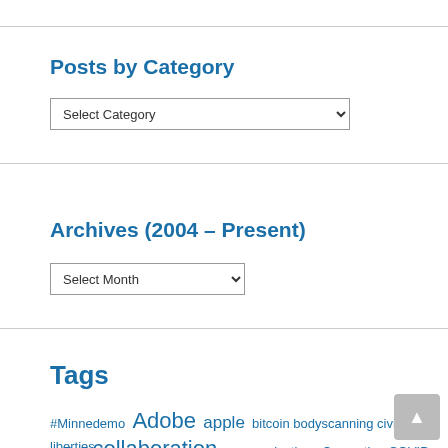Posts by Category
Select Category (dropdown)
Archives (2004 – Present)
Select Month (dropdown)
Tags
#Minnedemo Adobe apple bitcoin bodyscanning civil liberties coffee collaboration communications Computing COVID-19 education Featured flash food formaldehyde HD HD